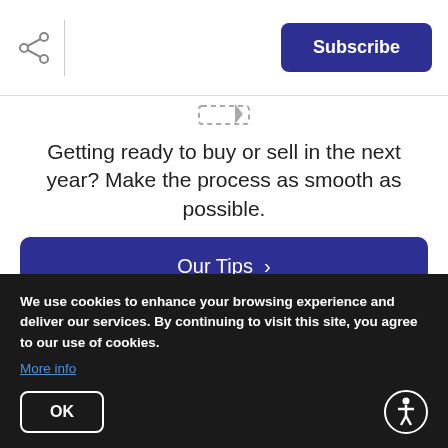Subscribe
[Figure (other): Small icon/graphic at top center of content area]
Getting ready to buy or sell in the next year? Make the process as smooth as possible.
[Figure (other): Our Tips button - dark blue rounded button with arrow]
buying your dream one or even becoming a first-time homeowner, it's time to set your intentions and plan right now in order to be successful in achieving your real estate goals this year.
We use cookies to enhance your browsing experience and deliver our services. By continuing to visit this site, you agree to our use of cookies. More info
OK